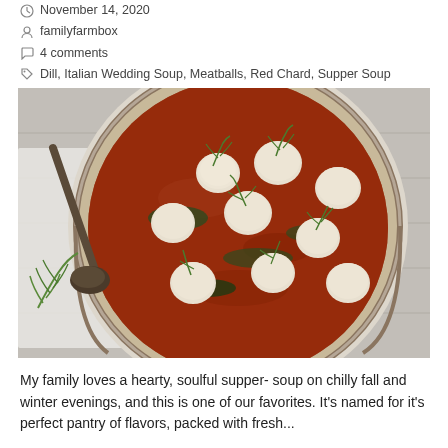November 14, 2020
familyfarmbox
4 comments
Dill, Italian Wedding Soup, Meatballs, Red Chard, Supper Soup
[Figure (photo): Overhead view of a white enameled pot containing Italian wedding soup with meatballs, herbs (dill), and tomato broth, with a ladle resting beside the pot on a wooden surface.]
My family loves a hearty, soulful supper- soup on chilly fall and winter evenings, and this is one of our favorites. It's named for it's perfect pantry of flavors, packed with fresh...